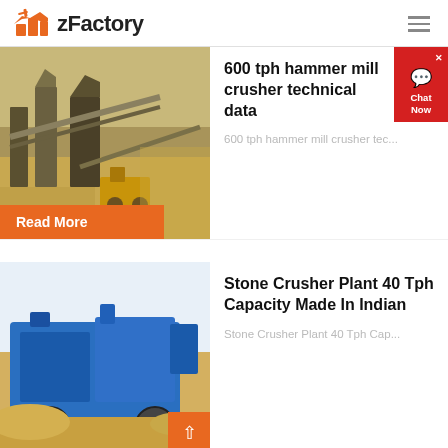zFactory
[Figure (photo): Aerial view of a mining/industrial site with conveyor belts and heavy machinery]
600 tph hammer mill crusher technical data
600 tph hammer mill crusher tec...
Read More
[Figure (photo): Blue stone crusher plant machinery on a sandy site]
Stone Crusher Plant 40 Tph Capacity Made In Indian
Stone Crusher Plant 40 Tph Cap...